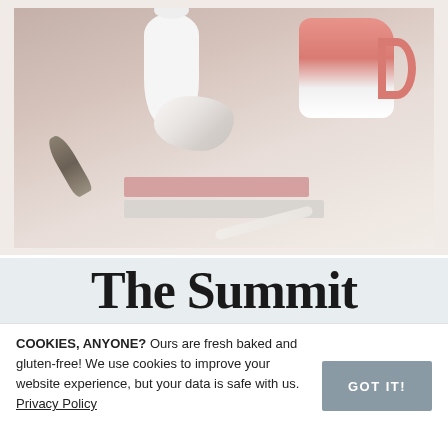[Figure (photo): Lifestyle flatlay photo showing a white ceramic vase with dried botanicals, a pink ceramic mug with celestial moon illustration, a white crystal geode, stacked pink and grey books/notebooks, a dried sage bundle, and a white pen on a light surface.]
The Summit
COOKIES, ANYONE? Ours are fresh baked and gluten-free! We use cookies to improve your website experience, but your data is safe with us. Privacy Policy
GOT IT!